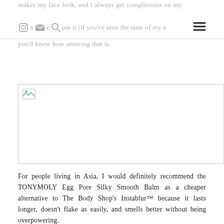makes my face look, and I always get compliments on my
[instagram icon] n [email icon] e [search icon] use it (if you've seen the state of my a [menu icon]
you'd know how amazing that is.
[Figure (photo): Broken image placeholder with small image icon in top-left corner]
For people living in Asia, I would definitely recommend the TONYMOLY Egg Pore Silky Smooth Balm as a cheaper alternative to The Body Shop's Instablur™ because it lasts longer, doesn't flake as easily, and smells better without being overpowering.